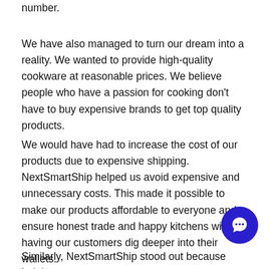number.
We have also managed to turn our dream into a reality. We wanted to provide high-quality cookware at reasonable prices. We believe people who have a passion for cooking don't have to buy expensive brands to get top quality products.
We would have had to increase the cost of our products due to expensive shipping. NextSmartShip helped us avoid expensive and unnecessary costs. This made it possible to make our products affordable to everyone and ensure honest trade and happy kitchens without having our customers dig deeper into their wallets.
Similarly, NextSmartShip stood out because helping